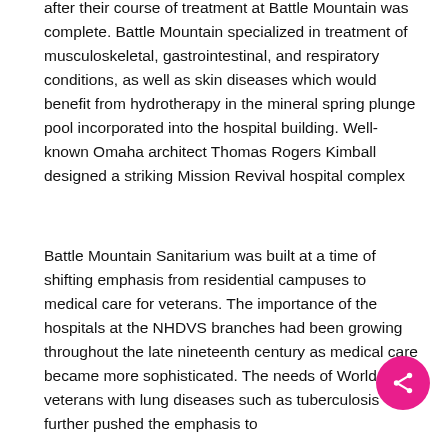Veterans typically would return to residential NHDVS branches after their course of treatment at Battle Mountain was complete. Battle Mountain specialized in treatment of musculoskeletal, gastrointestinal, and respiratory conditions, as well as skin diseases which would benefit from hydrotherapy in the mineral spring plunge pool incorporated into the hospital building. Well-known Omaha architect Thomas Rogers Kimball designed a striking Mission Revival hospital complex with all wards and service buildings connected by covered walkways and an unusual series of ramps.  Prominent Kansas City landscape architect George Kessler created the site plan on a hill overlooking downtown Hot Springs.
Battle Mountain Sanitarium was built at a time of shifting emphasis from residential campuses to medical care for veterans. The importance of the hospitals at the NHDVS branches had been growing throughout the late nineteenth century as medical care became more sophisticated. The needs of World War I veterans with lung diseases such as tuberculosis further pushed the emphasis to medical care...